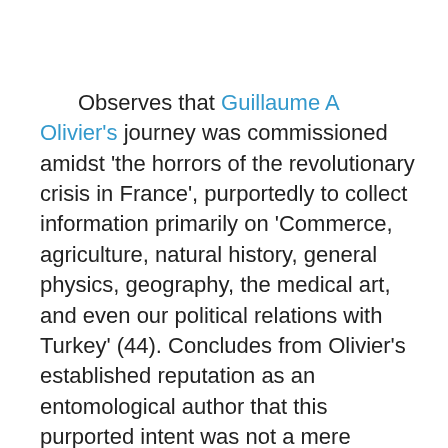Observes that Guillaume A Olivier's journey was commissioned amidst 'the horrors of the revolutionary crisis in France', purportedly to collect information primarily on 'Commerce, agriculture, natural history, general physics, geography, the medical art, and even our political relations with Turkey' (44). Concludes from Olivier's established reputation as an entomological author that this purported intent was not a mere pretence to cover 'purposes of more questionable tendancy' (44). In his narrative Olivier explicitly eschews amusing anecdotes and descriptions. Discusses Olivier's account of recent hydrographical work carried out at the request of the Institut Nationale. Discusses Olivier's account of the